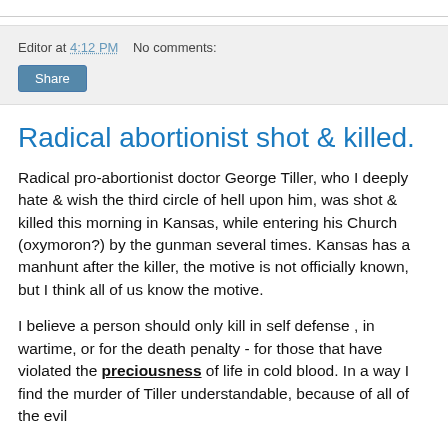Editor at 4:12 PM    No comments:
Share
Radical abortionist shot & killed.
Radical pro-abortionist doctor George Tiller, who I deeply hate & wish the third circle of hell upon him, was shot & killed this morning in Kansas, while entering his Church (oxymoron?) by the gunman several times. Kansas has a manhunt after the killer, the motive is not officially known, but I think all of us know the motive.
I believe a person should only kill in self defense , in wartime, or for the death penalty - for those that have violated the preciousness of life in cold blood. In a way I find the murder of Tiller understandable, because of all of the evil